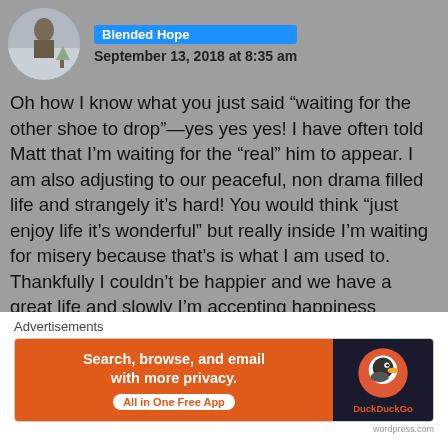Blended Hope — September 13, 2018 at 8:35 am
Oh how I know what you just said “waiting for the other shoe to drop”—yes yes yes! I have often told Matt that I’m waiting for the “real” him to appear. I am also adjusting to our peaceful, non drama filled life and strangely it’s hard! You would think “just enjoy life it’s wonderful” but really inside I’m waiting for misery because that’s is what I am used to. Thankfully I couldn’t be happier and we have a great life and slowly I’m accepting happiness everyday. Wishing you the same ❤
★ Liked by 1 person
[Figure (infographic): DuckDuckGo advertisement banner: orange left section with text 'Search, browse, and email with more privacy. All in One Free App', dark right section with DuckDuckGo duck logo and brand name.]